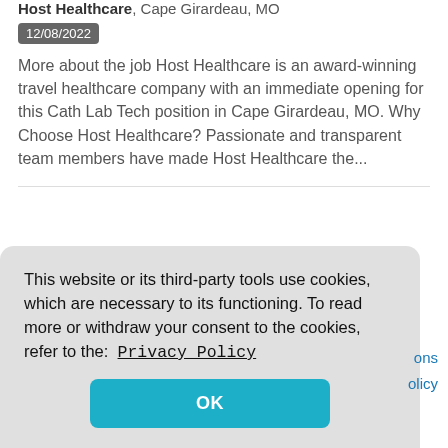Host Healthcare, Cape Girardeau, MO
12/08/2022
More about the job Host Healthcare is an award-winning travel healthcare company with an immediate opening for this Cath Lab Tech position in Cape Girardeau, MO. Why Choose Host Healthcare? Passionate and transparent team members have made Host Healthcare the...
This website or its third-party tools use cookies, which are necessary to its functioning. To read more or withdraw your consent to the cookies, refer to the:  Privacy Policy
OK
ons
olicy